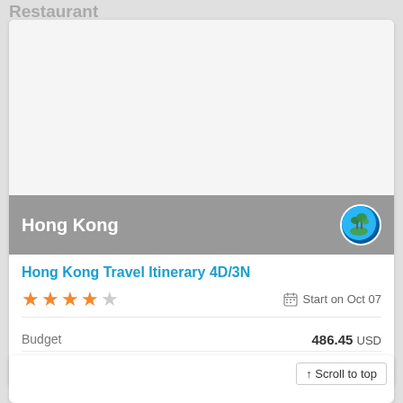Restaurant
[Figure (photo): Travel destination photo placeholder (white/blank image area)]
Hong Kong
Hong Kong Travel Itinerary 4D/3N
★★★★☆   Start on Oct 07
Budget   486.45 USD
Durations   4.0 days
↑ Scroll to top